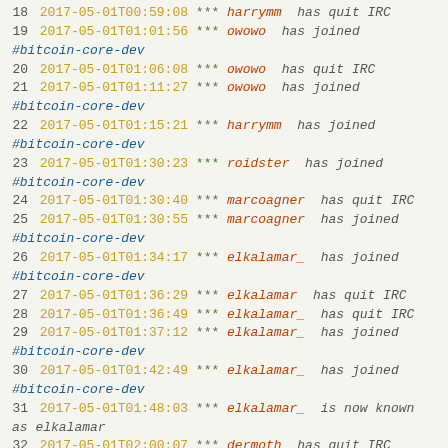18 2017-05-01T00:59:08 *** harrymm has quit IRC
19 2017-05-01T01:01:56 *** owowo has joined #bitcoin-core-dev
20 2017-05-01T01:06:08 *** owowo has quit IRC
21 2017-05-01T01:11:27 *** owowo has joined #bitcoin-core-dev
22 2017-05-01T01:15:21 *** harrymm has joined #bitcoin-core-dev
23 2017-05-01T01:30:23 *** roidster has joined #bitcoin-core-dev
24 2017-05-01T01:30:40 *** marcoagner has quit IRC
25 2017-05-01T01:30:55 *** marcoagner has joined #bitcoin-core-dev
26 2017-05-01T01:34:17 *** elkalamar_ has joined #bitcoin-core-dev
27 2017-05-01T01:36:29 *** elkalamar has quit IRC
28 2017-05-01T01:36:49 *** elkalamar_ has quit IRC
29 2017-05-01T01:37:12 *** elkalamar_ has joined #bitcoin-core-dev
30 2017-05-01T01:42:49 *** elkalamar_ has joined #bitcoin-core-dev
31 2017-05-01T01:48:03 *** elkalamar_ is now known as elkalamar
32 2017-05-01T02:00:07 *** dermoth has quit IRC
33 2017-05-01T02:00:43 *** laurentmt has joined #bitcoin-core-dev
34 2017-05-01T02:00:56 *** dermoth has joined #bitcoin-core-dev